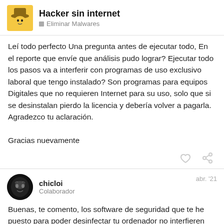Hacker sin internet — Eliminar Malwares
Leí todo perfecto Una pregunta antes de ejecutar todo, En el reporte que envíe que análisis pudo lograr? Ejecutar todo los pasos va a interferir con programas de uso exclusivo laboral que tengo instalado? Son programas para equipos Digitales que no requieren Internet para su uso, solo que si se desinstalan pierdo la licencia y debería volver a pagarla. Agradezco tu aclaración.

Gracias nuevamente
chicloi
Colaborador
abr. '21
Buenas, te comento, los software de seguridad que te he puesto para poder desinfectar tu ordenador no interfieren con tus programas para los Equipos Digitales y programas exclusivos laboral no tiene que